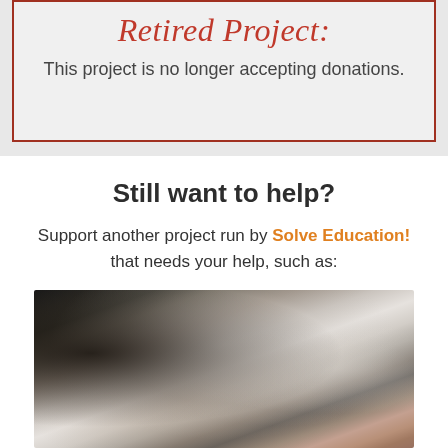Retired Project:
This project is no longer accepting donations.
Still want to help?
Support another project run by Solve Education! that needs your help, such as:
[Figure (photo): Classroom scene showing female students in white hijabs seated at desks, photographed from behind/side angle]